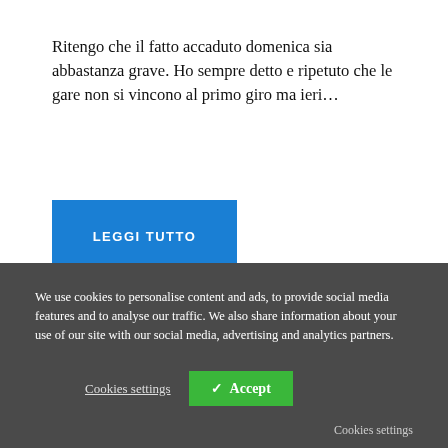Ritengo che il fatto accaduto domenica sia abbastanza grave. Ho sempre detto e ripetuto che le gare non si vincono al primo giro ma ieri…
LEGGI TUTTO
We use cookies to personalise content and ads, to provide social media features and to analyse our traffic. We also share information about your use of our site with our social media, advertising and analytics partners.
Cookies settings
✓ Accept
Cookies settings